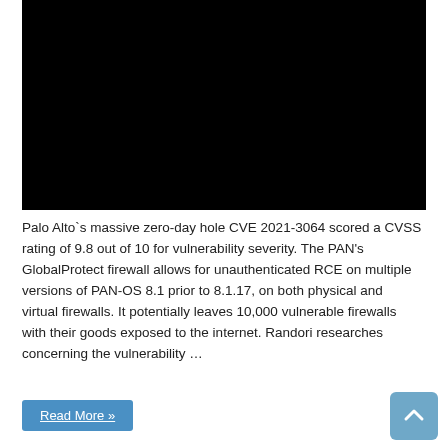[Figure (photo): Black rectangle representing a video thumbnail or image placeholder]
Palo Alto`s massive zero-day hole CVE 2021-3064 scored a CVSS rating of 9.8 out of 10 for vulnerability severity. The PAN's GlobalProtect firewall allows for unauthenticated RCE on multiple versions of PAN-OS 8.1 prior to 8.1.17, on both physical and virtual firewalls. It potentially leaves 10,000 vulnerable firewalls with their goods exposed to the internet. Randori researches concerning the vulnerability …
Read More »